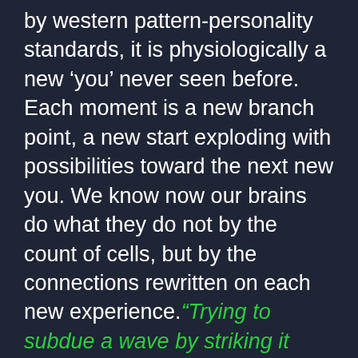by western pattern-personality standards, it is physiologically a new 'you' never seen before. Each moment is a new branch point, a new start exploding with possibilities toward the next new you. We know now our brains do what they do not by the count of cells, but by the connections rewritten on each new experience.“Trying to subdue a wave by striking it only results in a thousand waves”
Kipling’s line on wanting the wisdom to know what can be changed from what cannot echoes through the “quiet therapies”. Many